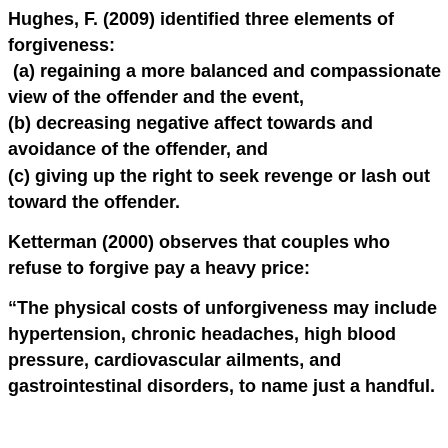Hughes, F. (2009) identified three elements of forgiveness: (a) regaining a more balanced and compassionate view of the offender and the event, (b) decreasing negative affect towards and avoidance of the offender, and (c) giving up the right to seek revenge or lash out toward the offender.
Ketterman (2000) observes that couples who refuse to forgive pay a heavy price:
“The physical costs of unforgiveness may include hypertension, chronic headaches, high blood pressure, cardiovascular ailments, and gastrointestinal disorders, to name just a handful.